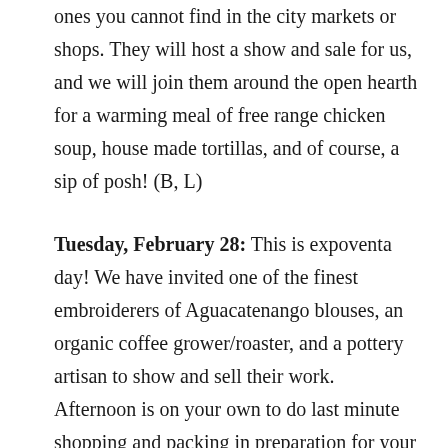ones you cannot find in the city markets or shops. They will host a show and sale for us, and we will join them around the open hearth for a warming meal of free range chicken soup, house made tortillas, and of course, a sip of posh! (B, L)
Tuesday, February 28: This is expoventa day! We have invited one of the finest embroiderers of Aguacatenango blouses, an organic coffee grower/roaster, and a pottery artisan to show and sell their work. Afternoon is on your own to do last minute shopping and packing in preparation for your trip home. We end our study tour with a Regret's Sale (just in case you have any) and